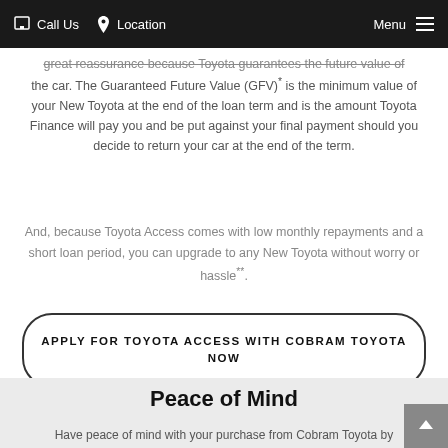Call Us   Location   Menu
great reassurance because Toyota guarantees the future value of the car. The Guaranteed Future Value (GFV)* is the minimum value of your New Toyota at the end of the loan term and is the amount Toyota Finance will pay you and be put against your final payment should you decide to return your car at the end of the term.
And, because Toyota Access comes with low monthly repayments and a short loan period, you can upgrade to any New Toyota without worry or hassle**.
APPLY FOR TOYOTA ACCESS WITH COBRAM TOYOTA NOW
Peace of Mind
Have peace of mind with your purchase from Cobram Toyota by